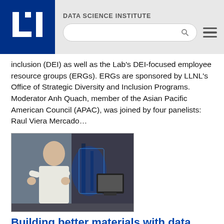DATA SCIENCE INSTITUTE
inclusion (DEI) as well as the Lab’s DEI-focused employee resource groups (ERGs). ERGs are sponsored by LLNL’s Office of Strategic Diversity and Inclusion Programs. Moderator Anh Quach, member of the Asian Pacific American Council (APAC), was joined by four panelists: Raul Viera Mercado…
[Figure (photo): A man in a white shirt gestures with his hands in front of laboratory equipment including a robotic arm with blue lighting and a computer monitor.]
Building better materials with data science (VIDEO)
Nov. 11, 2021 - Research engineer Brian Giera, PhD, describes how data science techniques help collect and analyze data from advanced manufacturing processes in order to craft